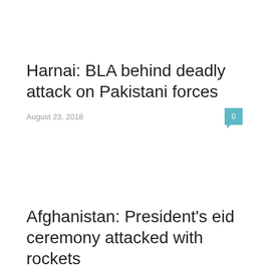Harnai: BLA behind deadly attack on Pakistani forces
August 23, 2018
Afghanistan: President's eid ceremony attacked with rockets